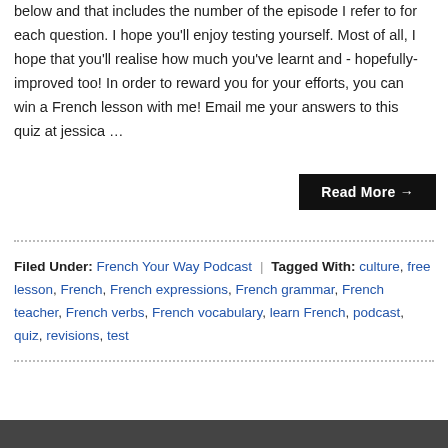below and that includes the number of the episode I refer to for each question. I hope you'll enjoy testing yourself. Most of all, I hope that you'll realise how much you've learnt and - hopefully- improved too! In order to reward you for your efforts, you can win a French lesson with me! Email me your answers to this quiz at jessica …
Read More →
Filed Under: French Your Way Podcast | Tagged With: culture, free lesson, French, French expressions, French grammar, French teacher, French verbs, French vocabulary, learn French, podcast, quiz, revisions, test